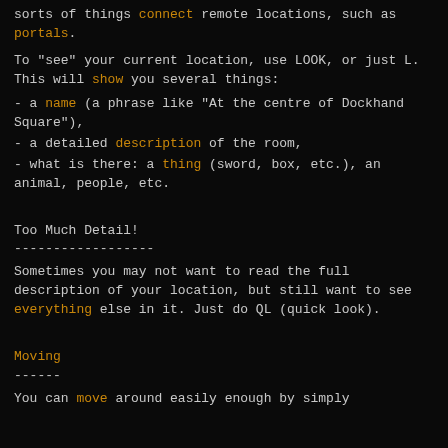sorts of things connect remote locations, such as portals.
To "see" your current location, use LOOK, or just L. This will show you several things:
- a name (a phrase like "At the centre of Dockhand Square"),
- a detailed description of the room,
- what is there: a thing (sword, box, etc.), an animal, people, etc.
Too Much Detail!
Sometimes you may not want to read the full description of your location, but still want to see everything else in it. Just do QL (quick look).
Moving
You can move around easily enough by simply